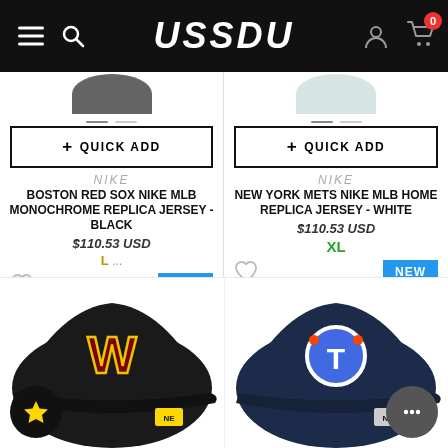USSDU
[Figure (photo): Quick Add button and product listing for Boston Red Sox Nike MLB Monochrome Replica Jersey - Black at $110.53 USD, size L, with NEW badge]
[Figure (photo): Quick Add button and product listing for New York Mets Nike MLB Home Replica Jersey - White at $110.53 USD, size XL, with NEW badge]
[Figure (photo): Washington Commanders New Era baseball cap in black with red/yellow W logo]
[Figure (photo): Tennessee Titans New Era baseball cap in navy blue with Titans logo]